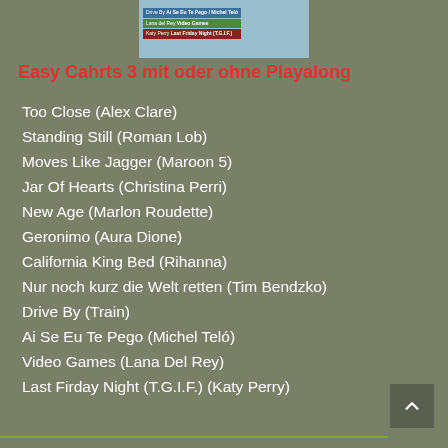[Figure (screenshot): Thumbnail/preview image at the top showing a music chart list with colored labels for Drive By, Ai Se Eu Te Pego, Video Games, and Last Friday Night]
Easy Cahrts 3 mit oder ohne Playalong
Too Close (Alex Clare)
Standing Still (Roman Lob)
Moves Like Jagger (Maroon 5)
Jar Of Hearts (Christina Perri)
New Age (Marlon Roudette)
Geronimo (Aura Dione)
California King Bed (Rihanna)
Nur noch kurz die Welt retten (Tim Bendzko)
Drive By (Train)
Ai Se Eu Te Pego (Michel Teló)
Video Games (Lana Del Rey)
Last Firday Night (T.G.I.F.) (Katy Perry)